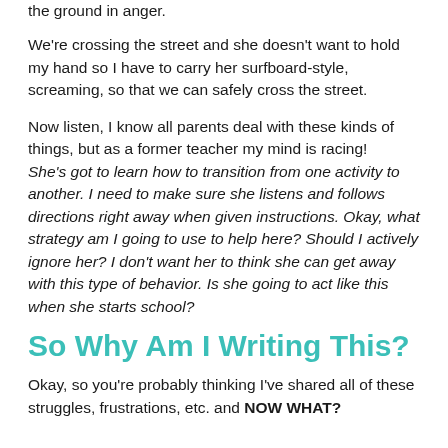the ground in anger.
We're crossing the street and she doesn't want to hold my hand so I have to carry her surfboard-style, screaming, so that we can safely cross the street.
Now listen, I know all parents deal with these kinds of things, but as a former teacher my mind is racing! She's got to learn how to transition from one activity to another. I need to make sure she listens and follows directions right away when given instructions. Okay, what strategy am I going to use to help here? Should I actively ignore her? I don't want her to think she can get away with this type of behavior. Is she going to act like this when she starts school?
So Why Am I Writing This?
Okay, so you're probably thinking I've shared all of these struggles, frustrations, etc. and NOW WHAT?